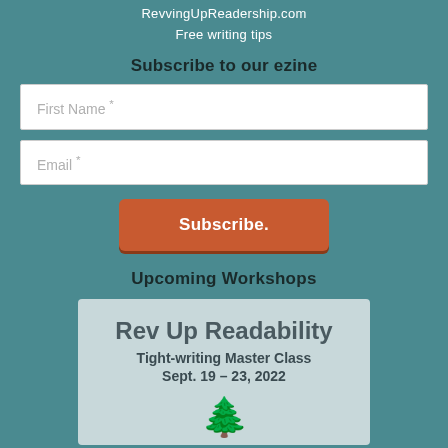RevvingUpReadership.com
Free writing tips
Subscribe to our ezine
First Name *
Email *
Subscribe.
Upcoming Workshops
[Figure (other): Workshop card for 'Rev Up Readability Tight-writing Master Class Sept. 19 – 23, 2022' on a light teal background with a tree silhouette at the bottom.]